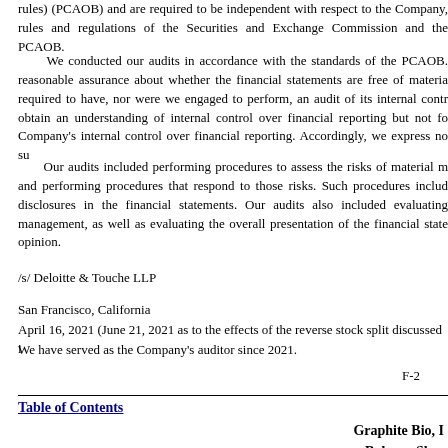rules) (PCAOB) and are required to be independent with respect to the Company, rules and regulations of the Securities and Exchange Commission and the PCAOB.
We conducted our audits in accordance with the standards of the PCAOB. reasonable assurance about whether the financial statements are free of materia required to have, nor were we engaged to perform, an audit of its internal contr obtain an understanding of internal control over financial reporting but not fo Company's internal control over financial reporting. Accordingly, we express no su
Our audits included performing procedures to assess the risks of material m and performing procedures that respond to those risks. Such procedures includ disclosures in the financial statements. Our audits also included evaluating management, as well as evaluating the overall presentation of the financial state opinion.
/s/ Deloitte & Touche LLP
San Francisco, California
April 16, 2021 (June 21, 2021 as to the effects of the reverse stock split discussed i
We have served as the Company's auditor since 2021.
F-2
Table of Contents
Graphite Bio, I
Balance Shee